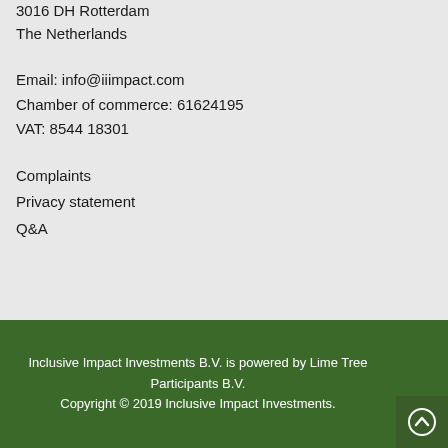3016 DH Rotterdam
The Netherlands
Email: info@iiimpact.com
Chamber of commerce: 61624195
VAT: 8544 18301
Complaints
Privacy statement
Q&A
Inclusive Impact Investments B.V.  is powered by Lime Tree Participants B.V.
Copyright © 2019 Inclusive Impact Investments.